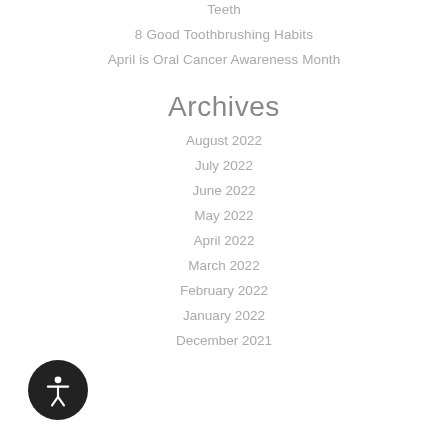Teeth
8 Good Toothbrushing Habits
April is Oral Cancer Awareness Month
Archives
August 2022
July 2022
June 2022
May 2022
April 2022
March 2022
February 2022
January 2022
December 2021